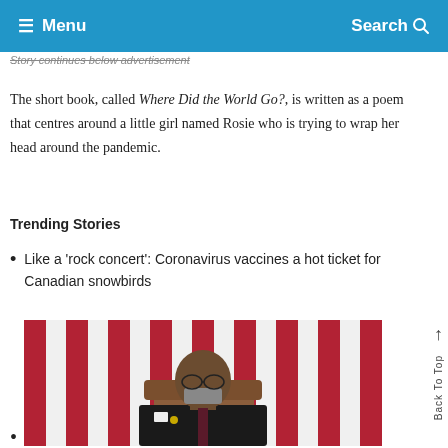≡ Menu   Search
Story continues below advertisement
The short book, called Where Did the World Go?, is written as a poem that centres around a little girl named Rosie who is trying to wrap her head around the pandemic.
Trending Stories
Like a 'rock concert': Coronavirus vaccines a hot ticket for Canadian snowbirds
[Figure (photo): Man in dark suit and face mask seated in front of an American flag backdrop, head bowed downward]